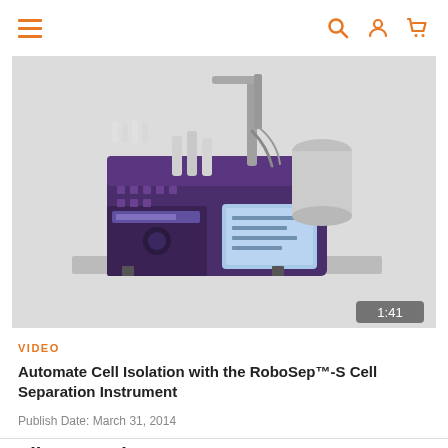Navigation bar with menu, search, account, and cart icons
[Figure (photo): Photo of the RoboSep™-S Cell Separation Instrument, a purple laboratory automated cell isolation device with robotic arm, tubing, reagent bottles, and touch screen display. Video duration badge shows 1:41.]
VIDEO
Automate Cell Isolation with the RoboSep™-S Cell Separation Instrument
Publish Date: March 31, 2014
Filter Results